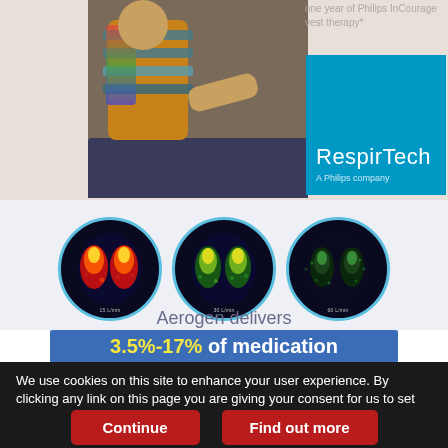[Figure (photo): Person wearing a colorful InCourage vest therapy device, sitting on a couch, with another person nearby. RespirTech 'A Philips company' branding shown in blue box.]
one year of Philips InCourage vest therapy*
[Figure (illustration): Three circular lung scan images showing aerosol deposition at different flow rates: 15 L/min (left, showing warm red/yellow colors indicating more deposition), 30 L/min (center, yellow-green), and 60 L/min (right, green/dark, less deposition).]
Aerogen delivers
3.5%-17% of medication
We use cookies on this site to enhance your user experience. By clicking any link on this page you are giving your consent for us to set cookies.
Continue
Find out more